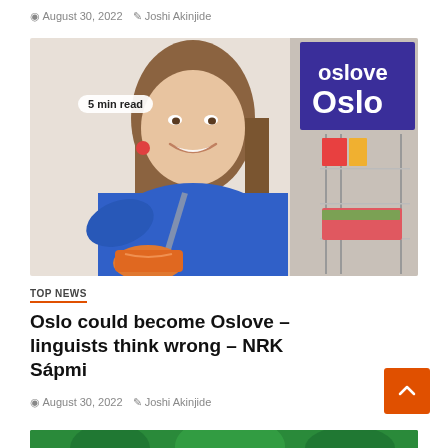August 30, 2022  Joshi Akinjide
[Figure (photo): Woman in blue sweater smiling, standing in front of a display shelf with a purple 'Oslove Oslo' sign visible in the background. Badge reads '5 min read'.]
TOP NEWS
Oslo could become Oslove – linguists think wrong – NRK Sápmi
August 30, 2022  Joshi Akinjide
[Figure (photo): Green-toned preview image at bottom of page, partially visible.]